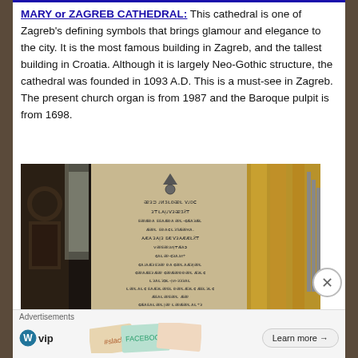MARY or ZAGREB CATHEDRAL: This cathedral is one of Zagreb's defining symbols that brings glamour and elegance to the city. It is the most famous building in Zagreb, and the tallest building in Croatia. Although it is largely Neo-Gothic structure, the cathedral was founded in 1093 A.D. This is a must-see in Zagreb. The present church organ is from 1987 and the Baroque pulpit is from 1698.
[Figure (photo): Interior of Zagreb Cathedral showing stone inscriptions/text tablets on a pillar with Gothic architectural elements and organ pipes visible on the right.]
Advertisements  VIP  Learn more →